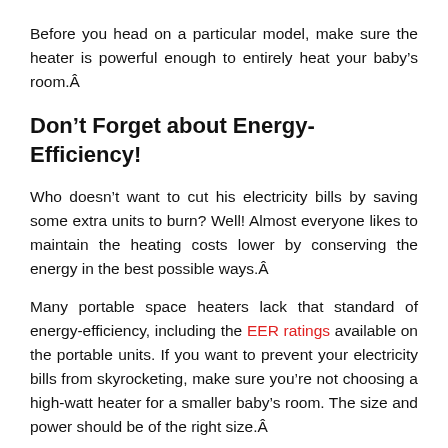Before you head on a particular model, make sure the heater is powerful enough to entirely heat your baby’s room.
Don’t Forget about Energy-Efficiency!
Who doesn’t want to cut his electricity bills by saving some extra units to burn? Well! Almost everyone likes to maintain the heating costs lower by conserving the energy in the best possible ways.
Many portable space heaters lack that standard of energy-efficiency, including the EER ratings available on the portable units. If you want to prevent your electricity bills from skyrocketing, make sure you’re not choosing a high-watt heater for a smaller baby’s room. The size and power should be of the right size.